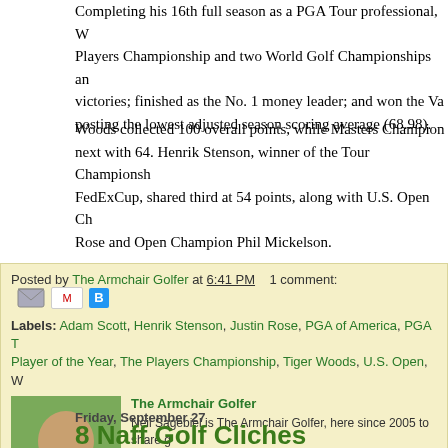Completing his 16th full season as a PGA Tour professional, W... Players Championship and two World Golf Championships an... victories; finished as the No. 1 money leader; and won the Va... posting the lowest adjusted season scoring average (68.98).
Woods collected 100 overall points, while Masters Champion... next with 64. Henrik Stenson, winner of the Tour Championship... FedExCup, shared third at 54 points, along with U.S. Open Ch... Rose and Open Champion Phil Mickelson.
Posted by The Armchair Golfer at 6:41 PM   1 comment:
Labels: Adam Scott, Henrik Stenson, Justin Rose, PGA of America, PGA T... Player of the Year, The Players Championship, Tiger Woods, U.S. Open, W...
The Armchair Golfer
Neil Sagebiel is The Armchair Golfer, here since 2005 to share g... celebrate this great game. Includes content and text links from s...
Friday, September 27
8 Naff Golf Cliches